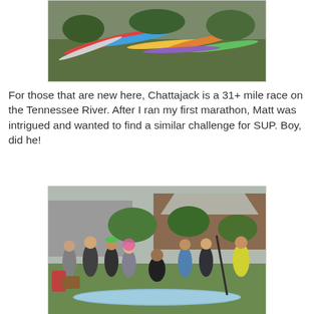[Figure (photo): Aerial or ground-level photo of multiple kayaks and paddleboards lined up on grass]
For those that are new here, Chattajack is a 31+ mile race on the Tennessee River. After I ran my first marathon, Matt was intrigued and wanted to find a similar challenge for SUP. Boy, did he!
[Figure (photo): Group of people posing outdoors on grass near a building, with a long kayak/SUP board in the foreground, at what appears to be the Chattajack race event]